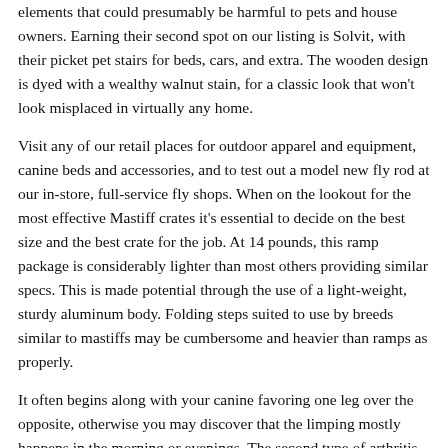elements that could presumably be harmful to pets and house owners. Earning their second spot on our listing is Solvit, with their picket pet stairs for beds, cars, and extra. The wooden design is dyed with a wealthy walnut stain, for a classic look that won't look misplaced in virtually any home.
Visit any of our retail places for outdoor apparel and equipment, canine beds and accessories, and to test out a model new fly rod at our in-store, full-service fly shops. When on the lookout for the most effective Mastiff crates it's essential to decide on the best size and the best crate for the job. At 14 pounds, this ramp package is considerably lighter than most others providing similar specs. This is made potential through the use of a light-weight, sturdy aluminum body. Folding steps suited to use by breeds similar to mastiffs may be cumbersome and heavier than ramps as properly.
It often begins along with your canine favoring one leg over the opposite, otherwise you may discover that the limping mostly happens in the morning or evenings. The second type of arthritis that canine expertise is identified as an inflammatory joint disease .The price is 1036, source. Users of hair detox methods on the internet claim to have passed hair drug checks, had the work of their dreams, or at the very least avoided having their bodily privacy violated. When you have a hair